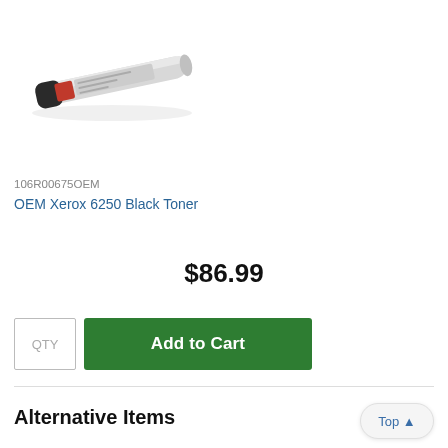[Figure (photo): Product photo of a toner cartridge (OEM Xerox 6250 Black Toner), elongated cylindrical shape, mostly light gray/silver with a black cap, shown at a slight diagonal angle.]
106R00675OEM
OEM Xerox 6250 Black Toner
$86.99
QTY
Add to Cart
Alternative Items
Top ▲